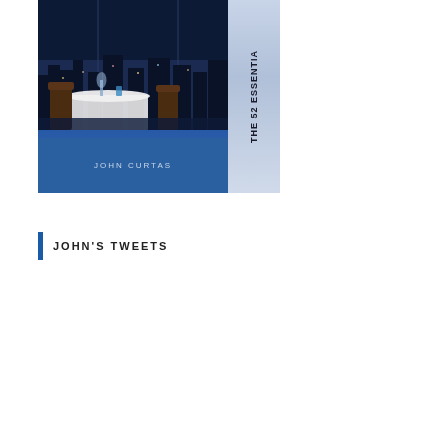[Figure (photo): Book cover image showing a restaurant with night city view on the left panel (blue/dark tones), author name 'JOHN CURTAS' on a blue strip at the bottom, and a spine on the right with text 'THE 52 ESSENTIA' visible in vertical orientation.]
JOHN'S TWEETS
My Tweets
[Figure (screenshot): Google enhanced search box with text 'ENHANCED BY Google' inside a rounded rectangle border.]
[Figure (screenshot): A partially visible button or UI element at the bottom of the page.]